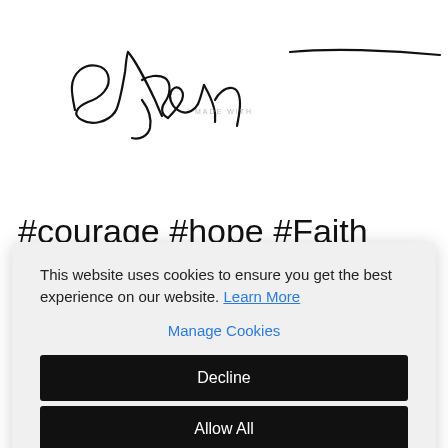[Figure (illustration): Handwritten cursive signature in black ink]
MADE WITH
#courage #hope #Faith #Selflove #brenebrown #tobemagnetic #havesomefuntoday #ownit #truth
This website uses cookies to ensure you get the best experience on our website. Learn More
Manage Cookies
Decline
Allow All
×